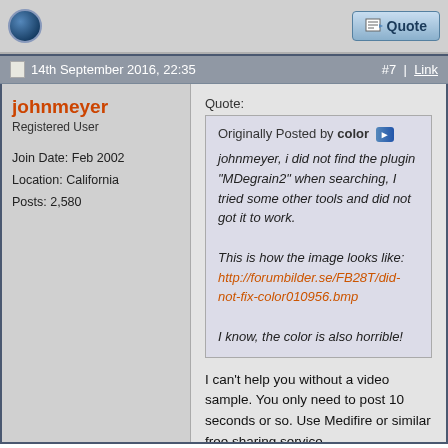Quote
14th September 2016, 22:35  #7 | Link
johnmeyer
Registered User

Join Date: Feb 2002
Location: California
Posts: 2,580
Quote:
Originally Posted by color
johnmeyer, i did not find the plugin "MDegrain2" when searching, I tried some other tools and did not got it to work.

This is how the image looks like:
http://forumbilder.se/FB28T/did-not-fix-color010956.bmp

I know, the color is also horrible!
I can't help you without a video sample. You only need to post 10 seconds or so. Use Medifire or similar free sharing service.

It looks like you may have some ghosting due to this possibly being a 2nd gen video (i.e., a copy of a VHS tape onto another VHS tape). There is code